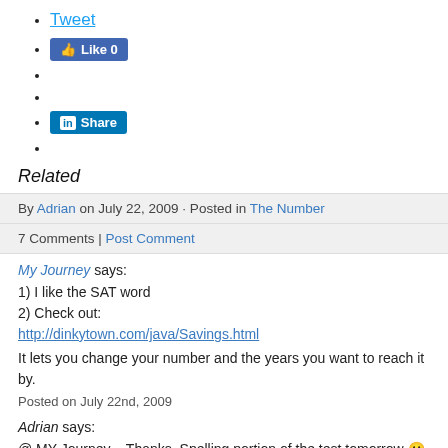Tweet
Like 0 (Facebook button)
Share (LinkedIn button)
Related
By Adrian on July 22, 2009 · Posted in The Number
7 Comments | Post Comment
My Journey says:
1) I like the SAT word
2) Check out:
http://dinkytown.com/java/Savings.html
It lets you change your number and the years you want to reach it by.
Posted on July 22nd, 2009
Adrian says:
@ MY Journey – Thanks. Spelling portion of the test tomorrow 🙂